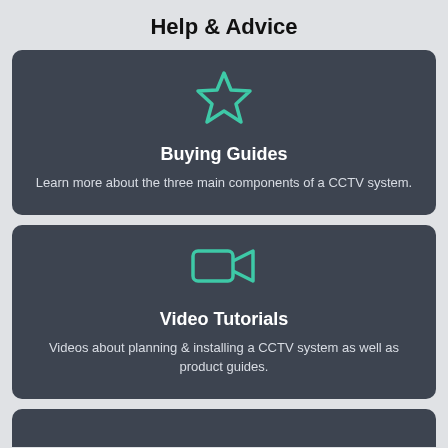Help & Advice
[Figure (illustration): Dark card with teal star icon, titled Buying Guides, with description text about CCTV system components.]
[Figure (illustration): Dark card with teal video camera icon, titled Video Tutorials, with description text about CCTV planning and product guides.]
[Figure (illustration): Partial dark card visible at the bottom of the page.]